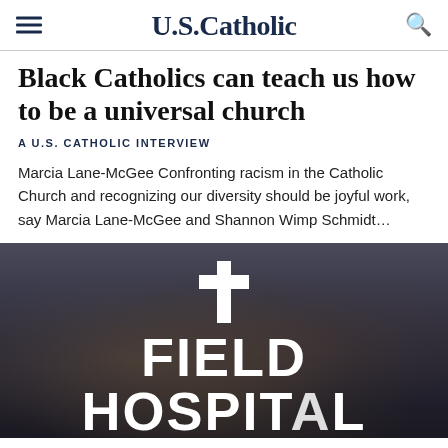U.S.Catholic
Black Catholics can teach us how to be a universal church
A U.S. CATHOLIC INTERVIEW
Marcia Lane-McGee Confronting racism in the Catholic Church and recognizing our diversity should be joyful work, say Marcia Lane-McGee and Shannon Wimp Schmidt…
[Figure (photo): Crowd of people with overlaid white cross icon and large white text reading FIELD HOSPITAL]